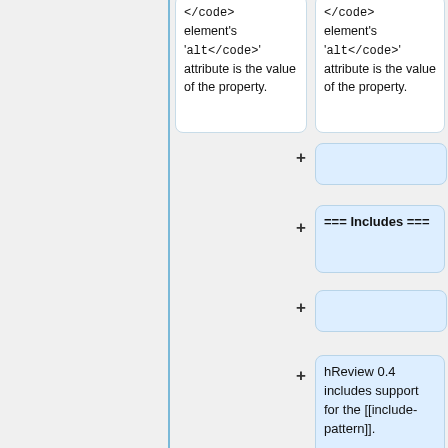</code> element's '<code>alt</code>' attribute is the value of the property.
</code> element's '<code>alt</code>' attribute is the value of the property.
=== Includes ===
hReview 0.4 includes support for the [[include-pattern]].
Often a single page lists an item, and then